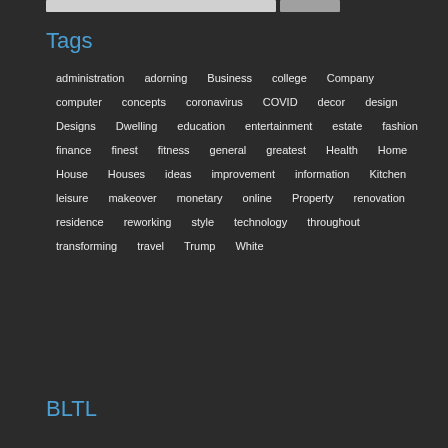Tags
administration
adorning
Business
college
Company
computer
concepts
coronavirus
COVID
decor
design
Designs
Dwelling
education
entertainment
estate
fashion
finance
finest
fitness
general
greatest
Health
Home
House
Houses
ideas
improvement
information
Kitchen
leisure
makeover
monetary
online
Property
renovation
residence
reworking
style
technology
throughout
transforming
travel
Trump
White
BLTL